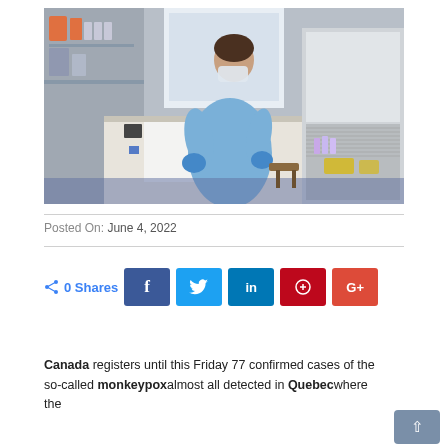[Figure (photo): A lab technician in a blue protective gown and gloves and a face mask works at a laboratory bench with a biosafety cabinet on the right side, various lab equipment on the counters.]
Posted On: June 4, 2022
0 Shares  [Facebook] [Twitter] [LinkedIn] [Pinterest] [Google+]
Canada registers until this Friday 77 confirmed cases of the so-called monkeypox almost all detected in Quebec where the